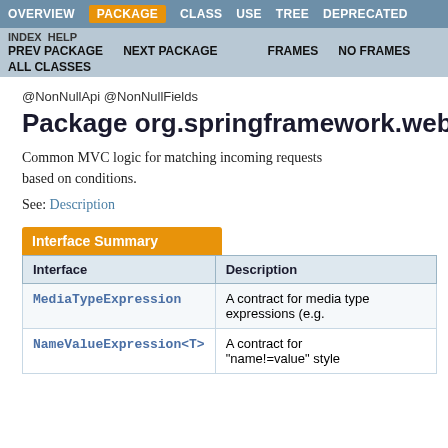OVERVIEW  PACKAGE  CLASS  USE  TREE  DEPRECATED
INDEX  HELP  PREV PACKAGE  NEXT PACKAGE  FRAMES  NO FRAMES  ALL CLASSES
@NonNullApi @NonNullFields
Package org.springframework.web.se
Common MVC logic for matching incoming requests based on conditions.
See: Description
| Interface | Description |
| --- | --- |
| MediaTypeExpression | A contract for media type expressions (e.g. |
| NameValueExpression<T> | A contract for "name!=value" style |